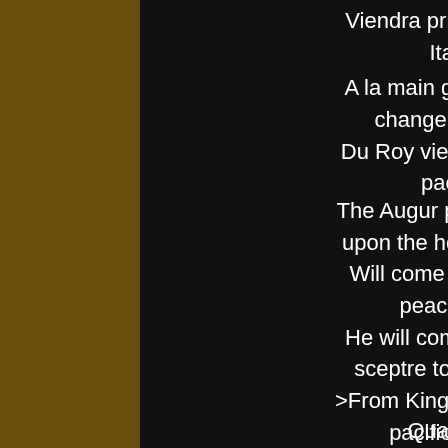Viendra prier pour la paix Italique: A la main gauche viendra changer le sceptre, Du Roy viendra Empereur pacifique.
The Augur putting his hand upon the head of the King Will come to pray for the peace of Italy: He will come to move the sceptre to his left hand, >From King he will become pacific Emperor.
Quatrain 5,7